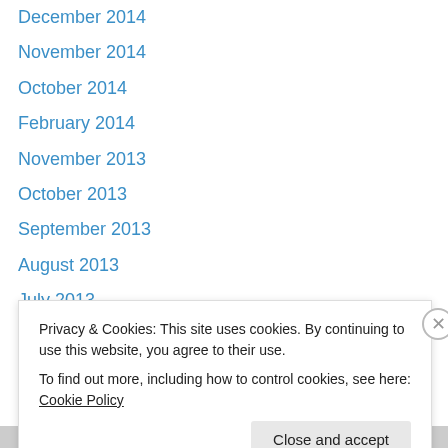December 2014
November 2014
October 2014
February 2014
November 2013
October 2013
September 2013
August 2013
July 2013
June 2013
May 2013
April 2013
March 2013
February 2013
Privacy & Cookies: This site uses cookies. By continuing to use this website, you agree to their use.
To find out more, including how to control cookies, see here: Cookie Policy
Close and accept